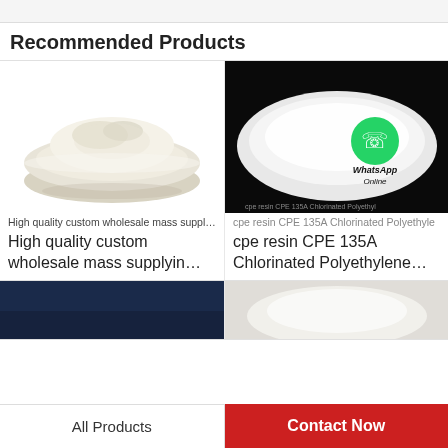Recommended Products
[Figure (photo): Bowl of white powder - High quality custom wholesale mass supplying product]
High quality custom wholesale mass supplyir
High quality custom wholesale mass supplyin…
[Figure (photo): White powder on dark background with WhatsApp Online overlay - cpe resin CPE 135A Chlorinated Polyethylene product]
cpe resin CPE 135A Chlorinated Polyethylene
cpe resin CPE 135A Chlorinated Polyethylene…
[Figure (photo): Dark blue surface product thumbnail]
[Figure (photo): White powder product thumbnail]
All Products | Contact Now